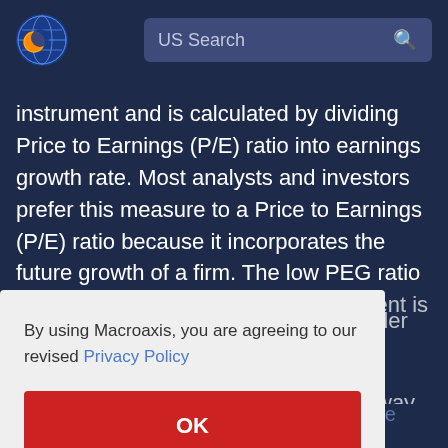US Search
instrument and is calculated by dividing Price to Earnings (P/E) ratio into earnings growth rate. Most analysts and investors prefer this measure to a Price to Earnings (P/E) ratio because it incorporates the future growth of a firm. The low PEG ratio usually implies that an equity instrument is undervalued; whereas PEG of 1
By using Macroaxis, you are agreeing to our revised Privacy Policy
OK
relates to its earnings and growth rate. The main benefit